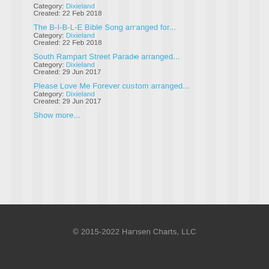Category: Dixieland
Created: 22 Feb 2018
The B-I-B-L-E Bible Song arranged for...
Category: Dixieland
Created: 22 Feb 2018
South Rampart Street Parade arranged...
Category: Dixieland
Created: 29 Jun 2017
Please Love Me Forever custom arranged...
Category: Dixieland
Created: 29 Jun 2017
Show more...
© 2015-2022 Hansen Charts, LLC